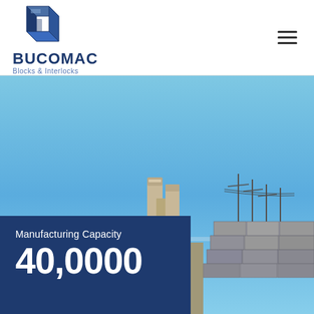[Figure (logo): BUCOMAC Blocks & Interlocks logo — blue 3D block icon above company name]
[Figure (photo): Industrial manufacturing facility with silos/chimneys against a blue sky, with stacked concrete blocks/interlocks on the right side]
Manufacturing Capacity
40,0000